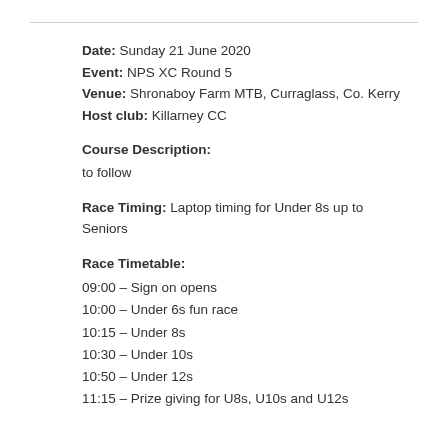Date: Sunday 21 June 2020
Event: NPS XC Round 5
Venue: Shronaboy Farm MTB, Curraglass, Co. Kerry
Host club: Killarney CC
Course Description:
to follow
Race Timing:
Laptop timing for Under 8s up to Seniors
Race Timetable:
09:00 – Sign on opens
10:00 – Under 6s fun race
10:15 – Under 8s
10:30 – Under 10s
10:50 – Under 12s
11:15 – Prize giving for U8s, U10s and U12s